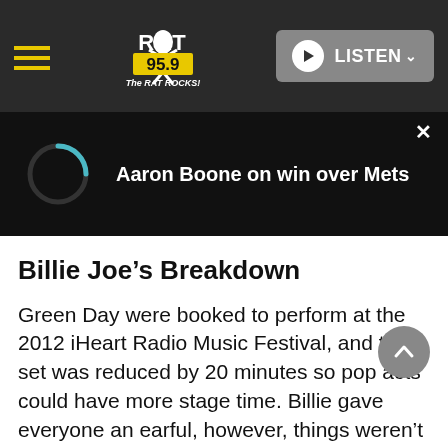[Figure (screenshot): RAT 95.9 The RAT ROCKS! radio station website header navigation bar with hamburger menu icon on left, station logo in center, and LISTEN button on right]
[Figure (screenshot): Audio player bar showing loading spinner and text 'Aaron Boone on win over Mets' with close X button]
Billie Joe’s Breakdown
Green Day were booked to perform at the 2012 iHeart Radio Music Festival, and their set was reduced by 20 minutes so pop acts could have more stage time.  Billie gave everyone an earful, however, things weren’t what they seemed. This incident shined a light on Billie’s substance abuse issues, and he shortly checked into rehab.